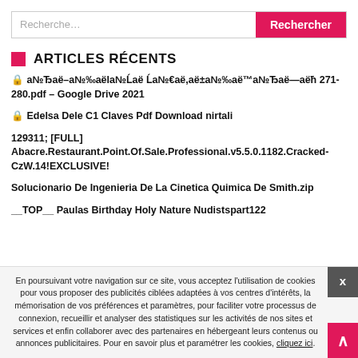Recherche...
ARTICLES RÉCENTS
🔒 а№Ђаë–а№‰аëlа№Ĺаë Ĺа№€аë,аë±а№‰аë™а№Ђаë—аëħ 271-280.pdf – Google Drive 2021
🔒 Edelsa Dele C1 Claves Pdf Download nirtali
129311; [FULL] Abacre.Restaurant.Point.Of.Sale.Professional.v5.5.0.1182.Cracked-CzW.14!EXCLUSIVE!
Solucionario De Ingenieria De La Cinetica Quimica De Smith.zip
__TOP__ Paulas Birthday Holy Nature Nudistspart122
En poursuivant votre navigation sur ce site, vous acceptez l'utilisation de cookies pour vous proposer des publicités ciblées adaptées à vos centres d'intérêts, la mémorisation de vos préférences et paramètres, pour faciliter votre processus de connexion, recueillir et analyser des statistiques sur les activités de nos sites et services et enfin collaborer avec des partenaires en hébergeant leurs contenus ou annonces publicitaires. Pour en savoir plus et paramétrer les cookies, cliquez ici.